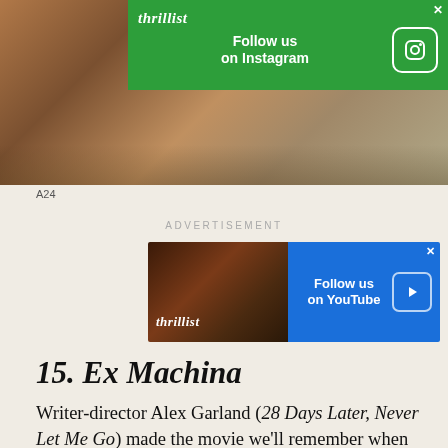[Figure (photo): Top portion of a film still or editorial photo, showing people in warm tones. Thrillist Instagram ad banner overlaid on top right: green background with 'Follow us on Instagram' text and Instagram icon.]
A24
ADVERTISEMENT
[Figure (other): Thrillist YouTube ad banner: blue background showing a person eating food on left, 'Follow us on YouTube' text with YouTube play button icon on right. X close button in top right.]
15. Ex Machina
Writer-director Alex Garland (28 Days Later, Never Let Me Go) made the movie we'll remember when Google's self-driving cars rise against their masters. Immaculately designed and researched, Ex Machina builds a trifecta out of the ultimate Silicon